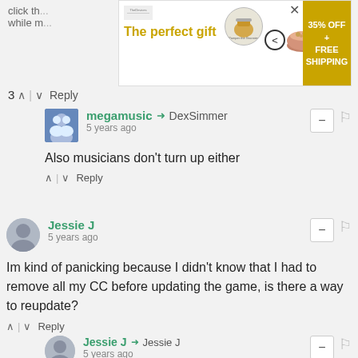[Figure (screenshot): Advertisement banner: 'The perfect gift' with product image, navigation arrows, and '35% OFF + FREE SHIPPING' offer badge]
click th... or a while m...
3 ^ | v Reply
megamusic → DexSimmer
5 years ago
Also musicians don't turn up either
^ | v Reply
Jessie J
5 years ago
Im kind of panicking because I didn't know that I had to remove all my CC before updating the game, is there a way to reupdate?
^ | v Reply
Jessie J → Jessie J
5 years ago
Update, I figured it out, yay!
^ | v Reply
Ricki